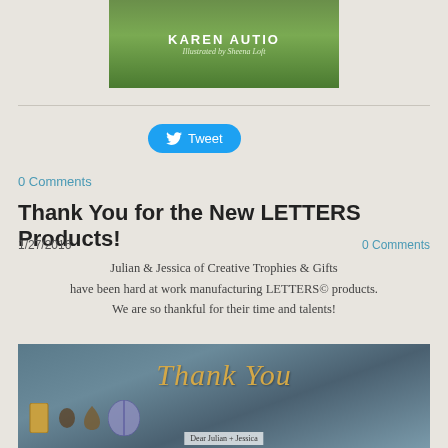[Figure (photo): Book cover image with green background showing author name KAREN AUTIO and illustrator Sheena Loft]
[Figure (screenshot): Twitter Tweet button in blue rounded rectangle]
0 Comments
Thank You for the New LETTERS Products!
1/27/2016   0 Comments
Julian & Jessica of Creative Trophies & Gifts have been hard at work manufacturing LETTERS© products. We are so thankful for their time and talents!
[Figure (photo): Photo of wooden Thank You letters arranged on a blue-grey fabric background with small animal figurines and a letter card reading Dear Julian + Jessica]